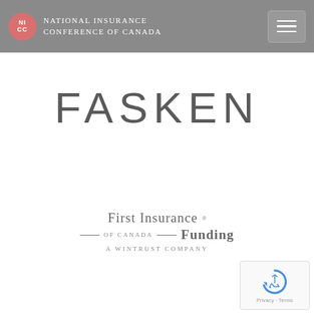National Insurance Conference of Canada
[Figure (logo): FASKEN law firm logo — large gray uppercase sans-serif text]
[Figure (logo): First Insurance Funding of Canada — A Wintrust Company logo in gray serif text with horizontal rules]
[Figure (other): Google reCAPTCHA badge with refresh icon and Privacy - Terms text]